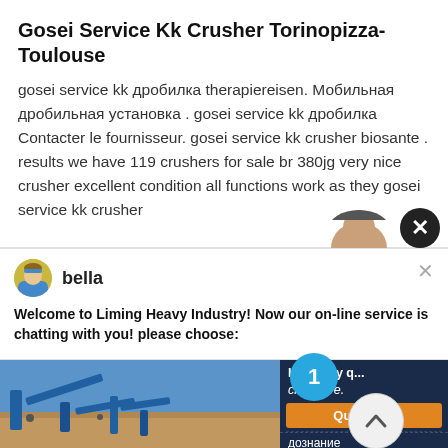Gosei Service Kk Crusher Torinopizza-Toulouse
gosei service kk дробилка therapiereisen. Мобильная дробильная установка . gosei service kk дробилка Contacter le fournisseur. gosei service kk crusher biosante . results we have 119 crushers for sale br 380jg very nice crusher excellent condition all functions work as they gosei service kk crusher
[Figure (screenshot): Chat popup with avatar of 'bella' and message: Welcome to Liming Heavy Industry! Now our on-line service is chatting with you! please choose:]
[Figure (photo): Industrial mining/crushing equipment with blue conveyors in an open landscape under a blue sky, with a right sidebar showing notification badge, Quotation button, and navigation links дознание and drobilkalm]